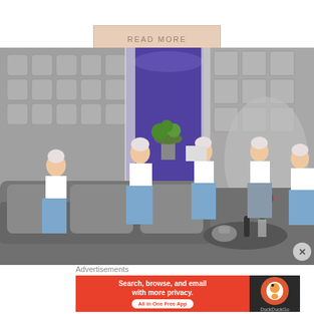READ MORE
[Figure (screenshot): A virtual/game scene showing multiple female avatars with white hair dressed in blue jeans and white tops sitting on grey sofas in a stylized room with purple curtains, quilted walls, and red tulips in a vase on a coffee table.]
Advertisements
[Figure (other): DuckDuckGo advertisement banner: orange left section with text 'Search, browse, and email with more privacy. All in One Free App' and dark right section with DuckDuckGo logo]